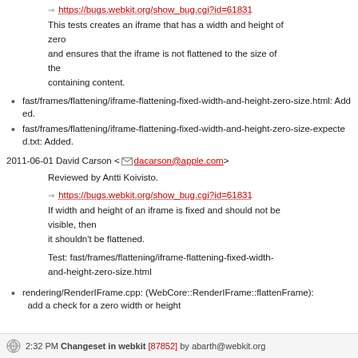⇒ https://bugs.webkit.org/show_bug.cgi?id=61831
This tests creates an iframe that has a width and height of zero and ensures that the iframe is not flattened to the size of the containing content.
fast/frames/flattening/iframe-flattening-fixed-width-and-height-zero-size.html: Added.
fast/frames/flattening/iframe-flattening-fixed-width-and-height-zero-size-expected.txt: Added.
2011-06-01 David Carson <dacarson@apple.com>
Reviewed by Antti Koivisto.
⇒ https://bugs.webkit.org/show_bug.cgi?id=61831
If width and height of an iframe is fixed and should not be visible, then it shouldn't be flattened.
Test: fast/frames/flattening/iframe-flattening-fixed-width-and-height-zero-size.html
rendering/RenderIFrame.cpp: (WebCore::RenderIFrame::flattenFrame): add a check for a zero width or height
2:32 PM Changeset in webkit [87852] by abarth@webkit.org